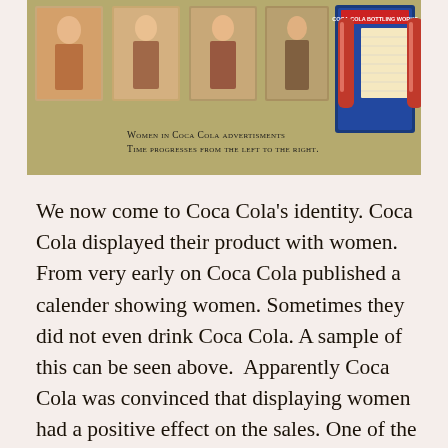[Figure (photo): Collage of Coca-Cola advertisements featuring women across different time periods, arranged left to right chronologically, with a calendar/bottle display on the right side. Background is olive/khaki colored.]
Women in Coca Cola advertisments
Time progresses from the left to the right.
We now come to Coca Cola's identity. Coca Cola displayed their product with women. From very early on Coca Cola published a calender showing women. Sometimes they did not even drink Coca Cola. A sample of this can be seen above.  Apparently Coca Cola was convinced that displaying women had a positive effect on the sales. One of the nice side things about the above pictures is that you can see how the clothes change. This was not only because of a change in clothing style, but also a change in morals. The one on the right is actually not from Coca Cola itself, but one of the last three on the row. The